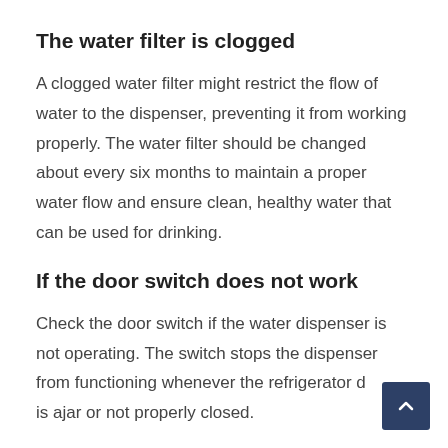The water filter is clogged
A clogged water filter might restrict the flow of water to the dispenser, preventing it from working properly. The water filter should be changed about every six months to maintain a proper water flow and ensure clean, healthy water that can be used for drinking.
If the door switch does not work
Check the door switch if the water dispenser is not operating. The switch stops the dispenser from functioning whenever the refrigerator door is ajar or not properly closed.